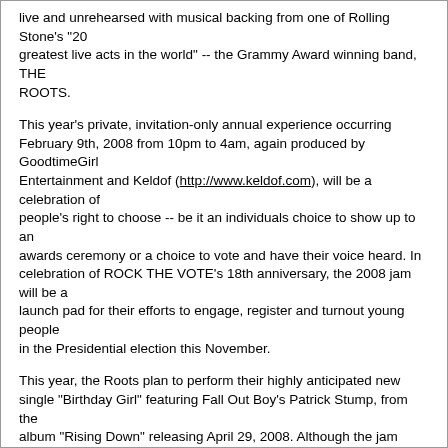live and unrehearsed with musical backing from one of Rolling Stone's "20 greatest live acts in the world" -- the Grammy Award winning band, THE ROOTS.
This year's private, invitation-only annual experience occurring February 9th, 2008 from 10pm to 4am, again produced by GoodtimeGirl Entertainment and Keldof (http://www.keldof.com), will be a celebration of people's right to choose -- be it an individuals choice to show up to an awards ceremony or a choice to vote and have their voice heard. In celebration of ROCK THE VOTE's 18th anniversary, the 2008 jam will be a launch pad for their efforts to engage, register and turnout young people in the Presidential election this November.
This year, the Roots plan to perform their highly anticipated new single "Birthday Girl" featuring Fall Out Boy's Patrick Stump, from the album "Rising Down" releasing April 29, 2008. Although the jam session's slate of performers is never announced in advance, A-listers and superstars who have stopped by or performed over the years include Queen Latifah, Snoop Dogg, Jay-Z, Ne-Yo, Fiona Apple, Natalie Portman, The Family, Don